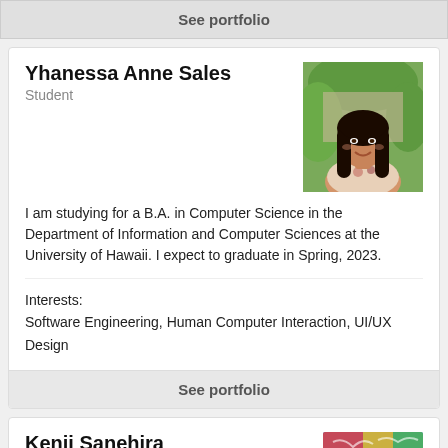See portfolio
Yhanessa Anne Sales
Student
[Figure (photo): Portrait photo of Yhanessa Anne Sales, a young woman with long dark hair, smiling, outdoors with green foliage in background]
I am studying for a B.A. in Computer Science in the Department of Information and Computer Sciences at the University of Hawaii. I expect to graduate in Spring, 2023.
Interests:
Software Engineering, Human Computer Interaction, UI/UX Design
See portfolio
Kenji Sanehira
Student
[Figure (photo): Portrait photo of Kenji Sanehira, a young man smiling, with colorful graffiti in the background]